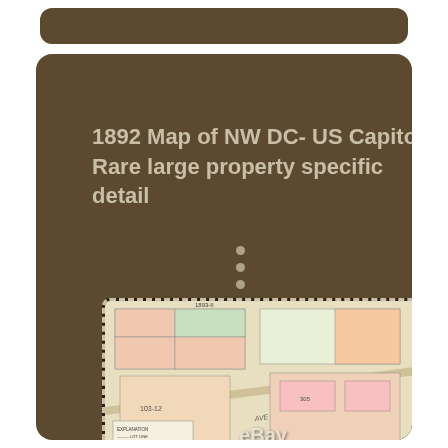1892 Map of NW DC- US Capitol Rare large property specific detail
[Figure (map): 1892 map of NW Washington DC near US Capitol showing property lots along Pennsylvania Avenue with colored parcel outlines and lot numbers. eBay watermark visible at bottom.]
[Figure (photo): Partial view of a second map image cropped at the bottom of the page.]